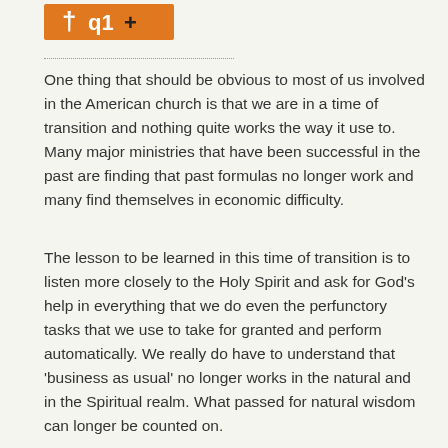[Figure (logo): Orange rectangular logo with text/icon in white and dark, partially visible at top left]
One thing that should be obvious to most of us involved in the American church is that we are in a time of transition and nothing quite works the way it use to. Many major ministries that have been successful in the past are finding that past formulas no longer work and many find themselves in economic difficulty.
The lesson to be learned in this time of transition is to listen more closely to the Holy Spirit and ask for God's help in everything that we do even the perfunctory tasks that we use to take for granted and perform automatically. We really do have to understand that 'business as usual' no longer works in the natural and in the Spiritual realm. What passed for natural wisdom can longer be counted on.